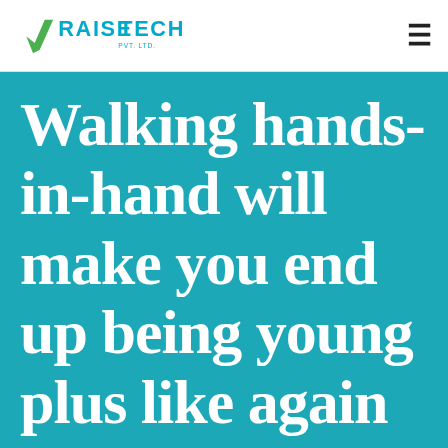[Figure (logo): Raise Tech Pvt. Ltd. company logo with green arrow and teal text]
Walking hands-in-hand will make you end up being young plus like again